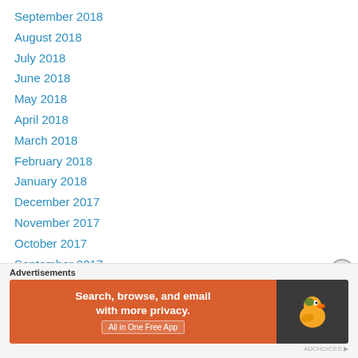September 2018
August 2018
July 2018
June 2018
May 2018
April 2018
March 2018
February 2018
January 2018
December 2017
November 2017
October 2017
September 2017
August 2017
July 2017
June 2017
[Figure (other): DuckDuckGo advertisement banner: 'Search, browse, and email with more privacy. All in One Free App' on orange background with DuckDuckGo duck logo on dark background.]